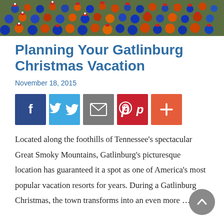[Figure (photo): Crowd of people at an outdoor event, many wearing orange and blue, some with red Santa hats, against a green field background.]
Planning Your Gatlinburg Christmas Vacation
November 18, 2015
[Figure (infographic): Social sharing buttons: Facebook (blue), Twitter (light blue), Email (grey), Pinterest (red), Plus/More (orange-red)]
Located along the foothills of Tennessee’s spectacular Great Smoky Mountains, Gatlinburg’s picturesque location has guaranteed it a spot as one of America’s most popular vacation resorts for years. During a Gatlinburg Christmas, the town transforms into an even more …